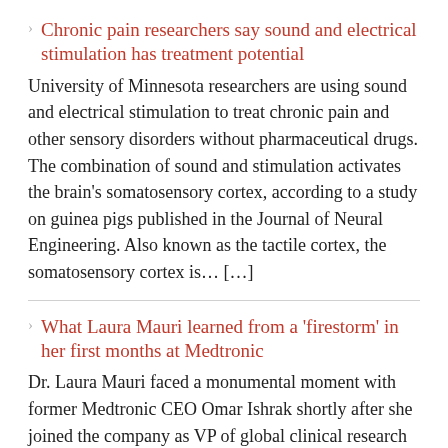Chronic pain researchers say sound and electrical stimulation has treatment potential
University of Minnesota researchers are using sound and electrical stimulation to treat chronic pain and other sensory disorders without pharmaceutical drugs. The combination of sound and stimulation activates the brain's somatosensory cortex, according to a study on guinea pigs published in the Journal of Neural Engineering. Also known as the tactile cortex, the somatosensory cortex is… […]
What Laura Mauri learned from a 'firestorm' in her first months at Medtronic
Dr. Laura Mauri faced a monumental moment with former Medtronic CEO Omar Ishrak shortly after she joined the company as VP of global clinical research and analytics. It was late 2018, and Mauri — who's